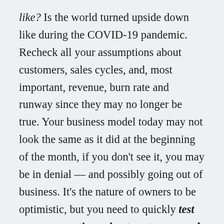like? Is the world turned upside down like during the COVID-19 pandemic. Recheck all your assumptions about customers, sales cycles, and, most important, revenue, burn rate and runway since they may no longer be true. Your business model today may not look the same as it did at the beginning of the month, if you don't see it, you may be in denial — and possibly going out of business. It's the nature of owners to be optimistic, but you need to quickly test your assumptions about customers and revenue. If you are selling to businesses (a B-to-B